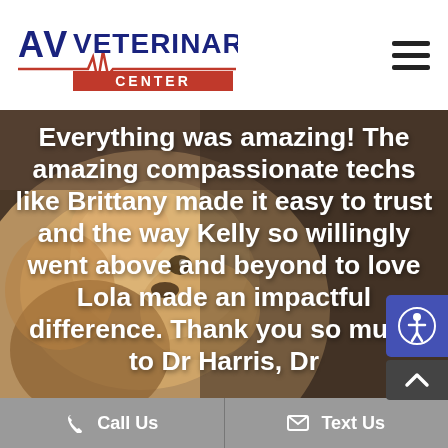[Figure (logo): AV Veterinary Center logo with heartbeat line and red CENTER text bar]
[Figure (photo): Close-up photo of a small fluffy Pomeranian dog used as background for a customer review overlay]
Everything was amazing! The amazing compassionate techs like Brittany made it easy to trust and the way Kelly so willingly went above and beyond to love Lola made an impactful difference. Thank you so much to Dr Harris, Dr
Call Us   Text Us